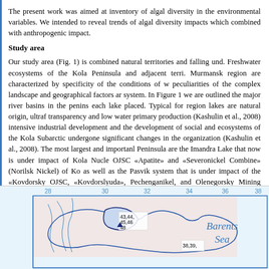The present work was aimed at inventory of algal diversity in the environmental variables. We intended to reveal trends of algal diversity impacts which combined with anthropogenic impact.
Study area
Our study area (Fig. 1) is combined natural territories and falling under. Freshwater ecosystems of the Kola Peninsula and adjacent territories. Murmansk region are characterized by specificity of the conditions of water peculiarities of the complex landscape and geographical factors and system. In Figure 1 we are outlined the major river basins in the peninsula each lake placed. Typical for region lakes are natural origin, ultrafrequency transparency and low water primary production (Kashulin et al., 2008) intensive industrial development and the development of social and ecosystems of the Kola Subarctic undergone significant changes in the organization (Kashulin et al., 2008). The most largest and importantly Peninsula are the Imandra Lake that now is under impact of Kola Nuclear OJSC «Apatite» and «Severonickel Combine» (Norilsk Nickel) of Kola as well as the Pasvik system that is under impact of the «Kovdorsky OJSC, «Kovdorslyuda», Pechenganikel, and Olenegorsky Mining attention was paid to aquatic ecosystems are experiencing long-persistent objects integrated environmental monitoring.
[Figure (map): Geographic map showing the Kola Peninsula region with labeled coordinates (28, 30, 32, 34, 36, 38 along top), numbered lake/site markers (43,44,45,46,48,38,39), river basins outlined, and 'Barents Sea' label in italic blue text on the right side.]